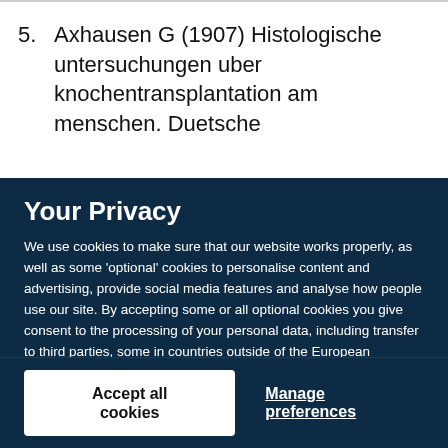5. Axhausen G (1907) Histologische untersuchungen uber knochentransplantation am menschen. Duetsche
Your Privacy
We use cookies to make sure that our website works properly, as well as some 'optional' cookies to personalise content and advertising, provide social media features and analyse how people use our site. By accepting some or all optional cookies you give consent to the processing of your personal data, including transfer to third parties, some in countries outside of the European Economic Area that do not offer the same data protection standards as the country where you live. You can decide which optional cookies to accept by clicking on 'Manage Settings', where you can also find more information about how your personal data is processed. Further information can be found in our privacy policy.
Accept all cookies
Manage preferences